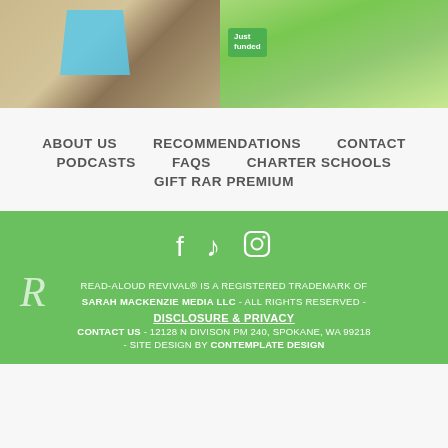[Figure (photo): Two side-by-side images at top: left shows a blue geometric shape on a granite/stone surface; right shows a children's book illustration with a 'Just funded' badge overlay, depicting a person with a wheelbarrow in a garden scene]
ABOUT US
RECOMMENDATIONS
CONTACT
PODCASTS
FAQS
CHARTER SCHOOLS
GIFT RAR PREMIUM
READ-ALOUD REVIVAL® IS A REGISTERED TRADEMARK OF SARAH MACKENZIE MEDIA LLC - ALL RIGHTS RESERVED - DISCLOSURE & PRIVACY CONTACT US - 12128 N DIVISON PM 240, SPOKANE, WA 99218 - SITE DESIGN BY CONTEMPLATE DESIGN